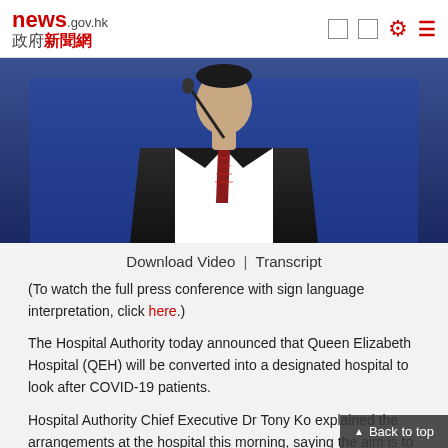news.gov.hk 政府新聞網
[Figure (photo): Screenshot of news.gov.hk website showing a video thumbnail of a man in a suit at a podium with a microphone, dark blue background. Below is a 'Download Video | Transcript' bar, and article text about Queen Elizabeth Hospital (QEH) being converted to a designated hospital for COVID-19 patients.]
Download Video  |  Transcript
(To watch the full press conference with sign language interpretation, click here.)
The Hospital Authority today announced that Queen Elizabeth Hospital (QEH) will be converted into a designated hospital to look after COVID-19 patients.
Hospital Authority Chief Executive Dr Tony Ko explained the arrangements at the hospital this morning, saying the aim is to focus treatment on COVID-19 patients.
“With the aim of doing so, we hope that by concentrating the COVID-19 patients together, concentrating the expertise, the management of such patients, we will be able to